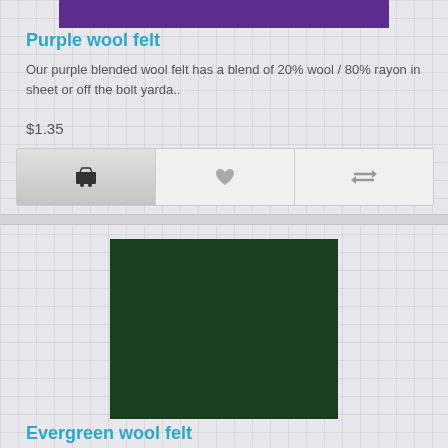[Figure (photo): Purple wool felt fabric swatch shown at top, cropped]
Purple wool felt
Our purple blended wool felt has a blend of 20% wool / 80% rayon in sheet or off the bolt yarda..
$1.35
[Figure (infographic): Action buttons bar with cart icon, heart/wishlist icon, and compare icon]
[Figure (photo): Evergreen wool felt fabric swatch — dark green textured fabric square]
Evergreen wool felt